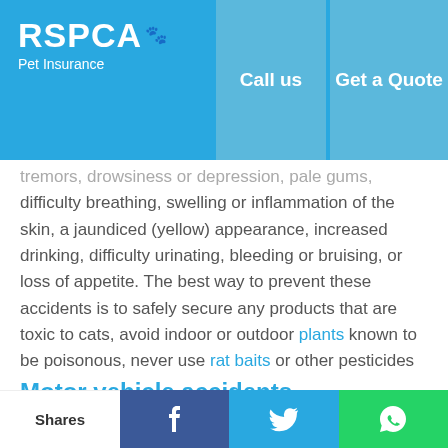RSPCA Pet Insurance | Call us | Get a Quote
tremors, drowsiness or depression, pale gums, difficulty breathing, swelling or inflammation of the skin, a jaundiced (yellow) appearance, increased drinking, difficulty urinating, bleeding or bruising, or loss of appetite. The best way to prevent these accidents is to safely secure any products that are toxic to cats, avoid indoor or outdoor plants known to be poisonous, never use rat baits or other pesticides and don't allow your cat access to toxic foods, which include onions, chocolate, raisins and fruit stones.
Motor vehicle accidents
Shares